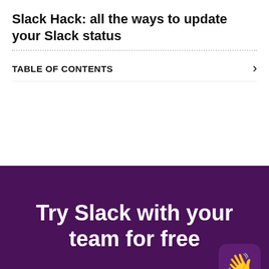Slack Hack: all the ways to update your Slack status
TABLE OF CONTENTS
Try Slack with your team for free